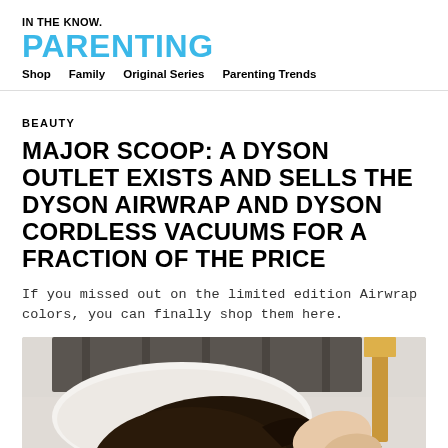IN THE KNOW.
PARENTING
Shop   Family   Original Series   Parenting Trends
BEAUTY
MAJOR SCOOP: A DYSON OUTLET EXISTS AND SELLS THE DYSON AIRWRAP AND DYSON CORDLESS VACUUMS FOR A FRACTION OF THE PRICE
If you missed out on the limited edition Airwrap colors, you can finally shop them here.
[Figure (photo): A woman with dark hair lying on a bed with white pillows, a dark metal bed frame visible behind her, and a gold/brass lamp in the background]